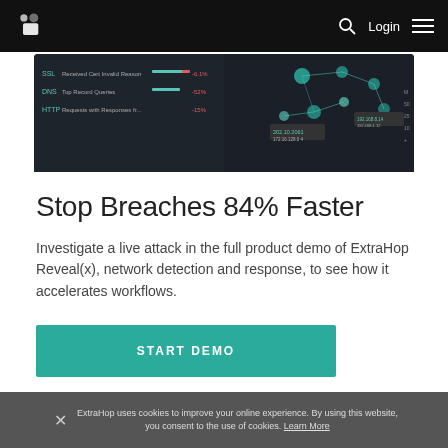ExtraHop navigation bar with logo, search, Login, and menu
[Figure (screenshot): ExtraHop Reveal(x) product dashboard screenshot showing network detection interface with dark background, table rows for SSL, DNS, HTTP metrics, and a network graph visualization on the right]
Stop Breaches 84% Faster
Investigate a live attack in the full product demo of ExtraHop Reveal(x), network detection and response, to see how it accelerates workflows.
START DEMO
ExtraHop uses cookies to improve your online experience. By using this website, you consent to the use of cookies. Learn More